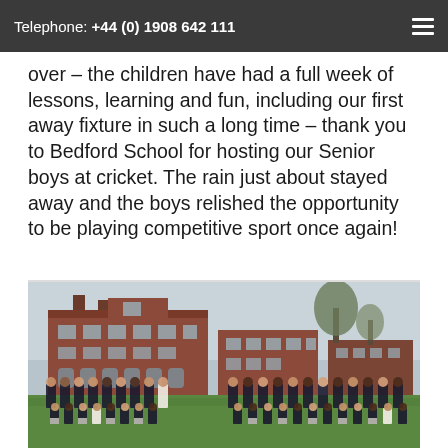Telephone: +44 (0) 1908 642 111
over – the children have had a full week of lessons, learning and fun, including our first away fixture in such a long time – thank you to Bedford School for hosting our Senior boys at cricket. The rain just about stayed away and the boys relished the opportunity to be playing competitive sport once again!
[Figure (photo): Group photo of schoolboys in cricket uniforms (dark blazers with red trim, white trousers) posing in front of a large red-brick school building with trees visible against an overcast sky. Boys are arranged in rows on a grass field.]